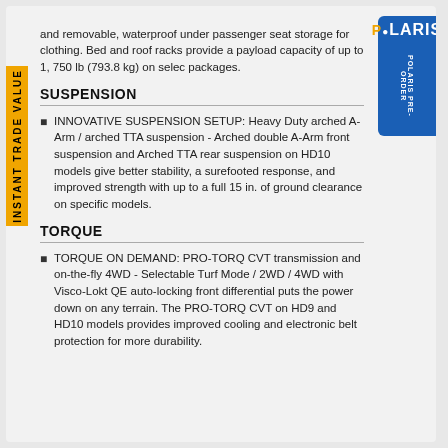and removable, waterproof under passenger seat storage for clothing. Bed and roof racks provide a payload capacity of up to 1,750 lb (793.8 kg) on select packages.
SUSPENSION
INNOVATIVE SUSPENSION SETUP: Heavy Duty arched A-Arm / arched TTA suspension - Arched double A-Arm front suspension and Arched TTA rear suspension on HD10 models give better stability, a surefooted response, and improved strength with up to a full 15 in. of ground clearance on specific models.
TORQUE
TORQUE ON DEMAND: PRO-TORQ CVT transmission and on-the-fly 4WD - Selectable Turf Mode / 2WD / 4WD with Visco-Lokt QE auto-locking front differential puts the power down on any terrain. The PRO-TORQ CVT on HD9 and HD10 models provides improved cooling and electronic belt protection for more durability.